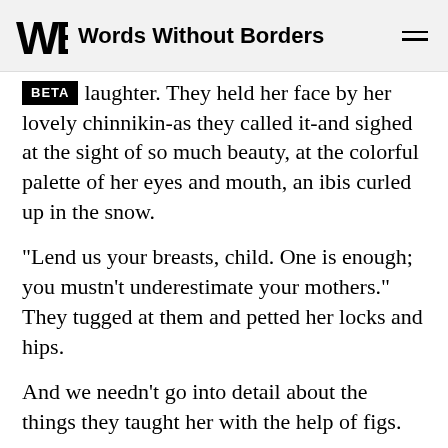Words Without Borders
laughter. They held her face by her lovely chinnikin-as they called it-and sighed at the sight of so much beauty, at the colorful palette of her eyes and mouth, an ibis curled up in the snow.
“Lend us your breasts, child. One is enough; you mustn’t underestimate your mothers.” They tugged at them and petted her locks and hips.
And we needn’t go into detail about the things they taught her with the help of figs.
“Enough already,” mumbled Mamourra.
y held her tight to their bountiful bosoms and laughed jubilantly. Their love for her rivaled that